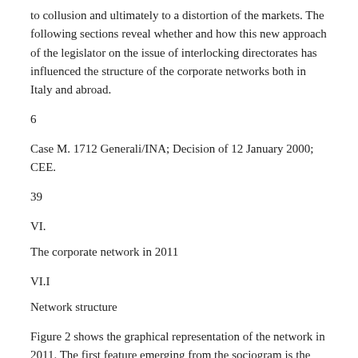to collusion and ultimately to a distortion of the markets. The following sections reveal whether and how this new approach of the legislator on the issue of interlocking directorates has influenced the structure of the corporate networks both in Italy and abroad.
6
Case M. 1712 Generali/INA; Decision of 12 January 2000; CEE.
39
VI.
The corporate network in 2011
VI.I
Network structure
Figure 2 shows the graphical representation of the network in 2011. The first feature emerging from the sociogram is the presence of eight separate components: the main component, a smaller component including four firms, an